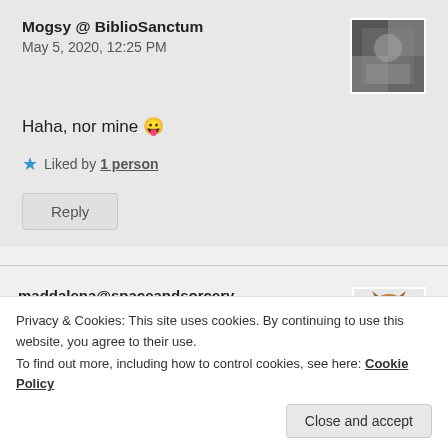Mogsy @ BiblioSanctum
May 5, 2020, 12:25 PM
Haha, nor mine 😛
★ Liked by 1 person
Reply
maddalena@spaceandsorcery
May 1, 2020, 10:13 AM
Privacy & Cookies: This site uses cookies. By continuing to use this website, you agree to their use.
To find out more, including how to control cookies, see here: Cookie Policy
Close and accept